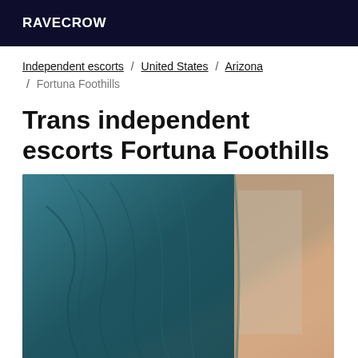RAVECROW
Independent escorts / United States / Arizona / Fortuna Foothills
Trans independent escorts Fortuna Foothills
[Figure (photo): Close-up photograph of a person wearing a teal/dark green form-fitting top, showing torso area, with a beige/peach background visible on the right side.]